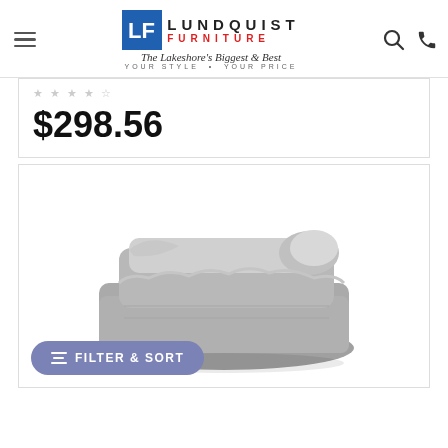Lundquist Furniture — The Lakeshore's Biggest & Best — YOUR STYLE · YOUR PRICE
$298.56
[Figure (photo): A folded grey plush/faux-fur blanket photographed on a white background]
FILTER & SORT